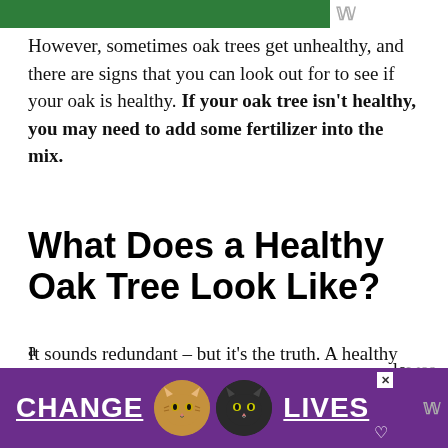[Figure (other): Green banner at top of page with white space and 'W' icon on the right]
However, sometimes oak trees get unhealthy, and there are signs that you can look out for to see if your oak is healthy. If your oak tree isn't healthy, you may need to add some fertilizer into the mix.
What Does a Healthy Oak Tree Look Like?
It sounds redundant – but it's the truth. A healthy tree will have a full canopy of leaves, green foliage all year except in the fall, bark that looks together and has a strong, stable
[Figure (illustration): Advertisement banner with purple background showing 'CHANGE' text, two cat photos in circles, 'LIVES' text with underline, close X button, heart icon, and W icon]